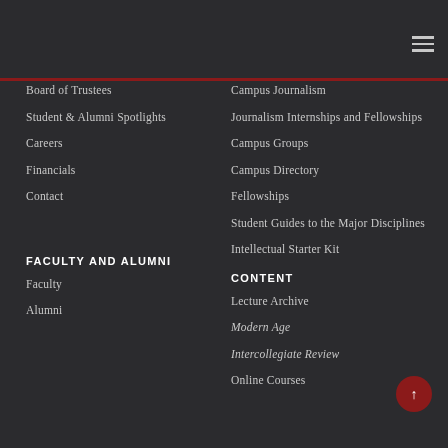Board of Trustees
Student & Alumni Spotlights
Careers
Financials
Contact
Campus Journalism
Journalism Internships and Fellowships
Campus Groups
Campus Directory
Fellowships
Student Guides to the Major Disciplines
Intellectual Starter Kit
FACULTY AND ALUMNI
Faculty
Alumni
CONTENT
Lecture Archive
Modern Age
Intercollegiate Review
Online Courses